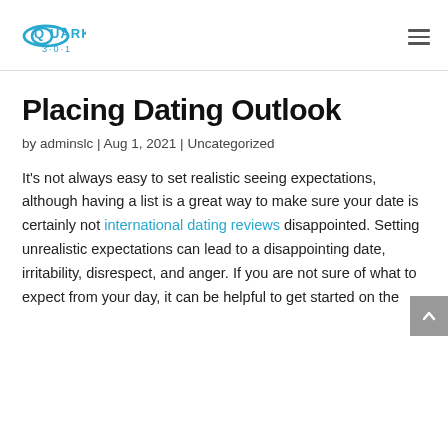Quark 3·0·1 [logo] [hamburger menu]
Placing Dating Outlook
by adminslc | Aug 1, 2021 | Uncategorized
It's not always easy to set realistic seeing expectations, although having a list is a great way to make sure your date is certainly not international dating reviews disappointed. Setting unrealistic expectations can lead to a disappointing date, irritability, disrespect, and anger. If you are not sure of what to expect from your day, it can be helpful to get started on the